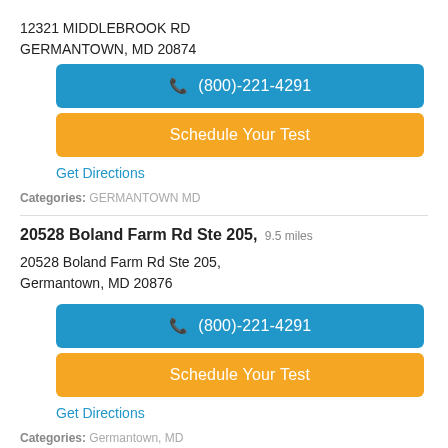12321 MIDDLEBROOK RD
GERMANTOWN, MD 20874
☎ (800)-221-4291
Schedule Your Test
Get Directions
Categories: GERMANTOWN MD
20528 Boland Farm Rd Ste 205, 9.5 miles
20528 Boland Farm Rd Ste 205,
Germantown, MD 20876
☎ (800)-221-4291
Schedule Your Test
Get Directions
Categories: Germantown, MD